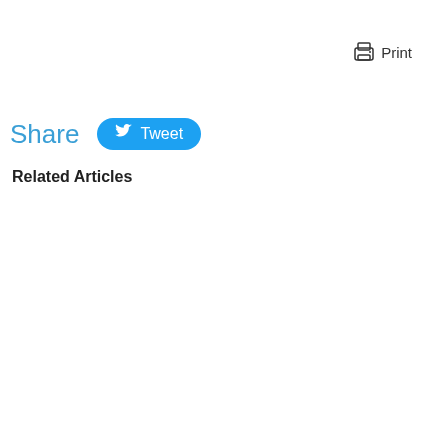Print
Share
Tweet
Related Articles